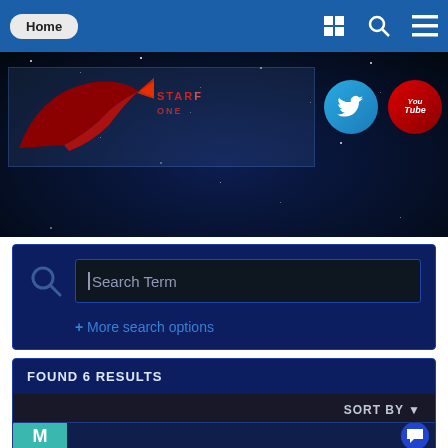Home
[Figure (screenshot): Website banner with logo showing a red swoosh/rocket design with text 'Star[fleet] Online', Twitter and YouTube social icons, on a dark starfield background]
Search Term
+ More search options
FOUND 6 RESULTS
SORT BY
[Figure (screenshot): Partial result item with teal M avatar letter and chat bubble icon]